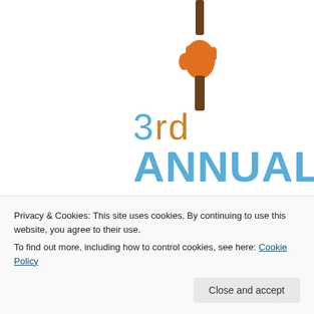[Figure (illustration): Illustrated hand holding a beer bottle, pouring downward, logo/poster art for 3rd Annual NY Craft Beer Week event]
3rd ANNUAL NY CRAFT BEER WEEK sept 04 – oct 02
Privacy & Cookies: This site uses cookies. By continuing to use this website, you agree to their use.
To find out more, including how to control cookies, see here: Cookie Policy
Close and accept